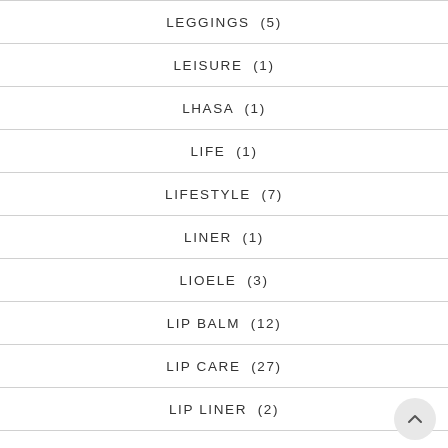LEGGINGS  (5)
LEISURE  (1)
LHASA  (1)
LIFE  (1)
LIFESTYLE  (7)
LINER  (1)
LIOELE  (3)
LIP BALM  (12)
LIP CARE  (27)
LIP LINER  (2)